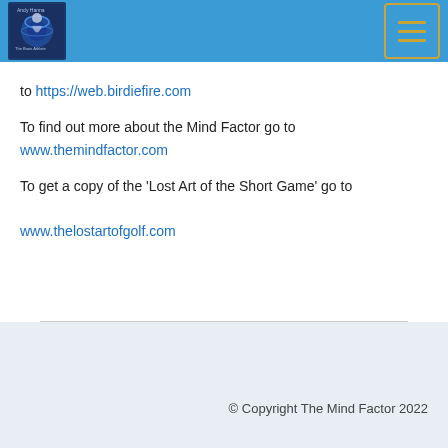Andy Hanna - The Brain Athlete | Birdiefire header with logo and menu
to https://web.birdiefire.com
To find out more about the Mind Factor go to www.themindfactor.com
To get a copy of the 'Lost Art of the Short Game' go to www.thelostartofgolf.com
© Copyright The Mind Factor 2022